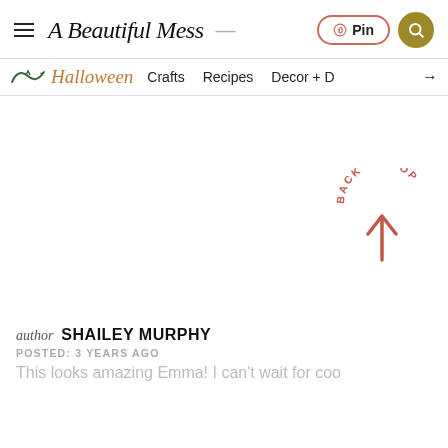A Beautiful Mess — Pin | Search
Halloween | Crafts | Recipes | Decor + →
[Figure (other): Back to Top button with circular text and upward arrow in coral/red color]
author SHAILEY MURPHY
POSTED: 3 YEARS AGO
This looks amazing Emma! I can't wait for coo